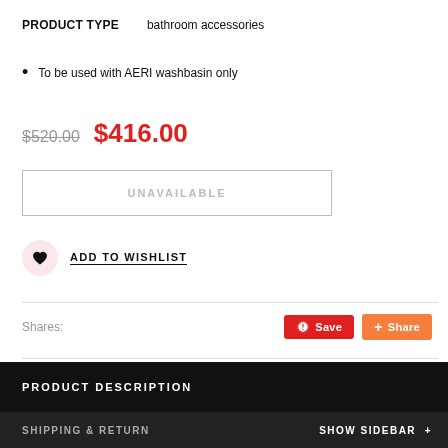PRODUCT TYPE    bathroom accessories
To be used with AERI washbasin only
$520.00  $416.00
UNAVAILABLE
ADD TO WISHLIST
Shares:
PRODUCT DESCRIPTION
SHIPPING & RETURN    SHOW SIDEBAR +